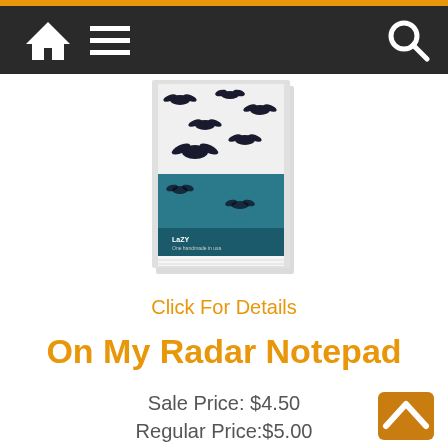Navigation bar with home, menu, and search icons
[Figure (photo): Product image of On My Radar Notepad showing a notepad cover with flying bats on teal/white background with Lazy One branding]
Click For Details
On My Radar Notepad
Sale Price: $4.50
Regular Price:$5.00
Add to Cart